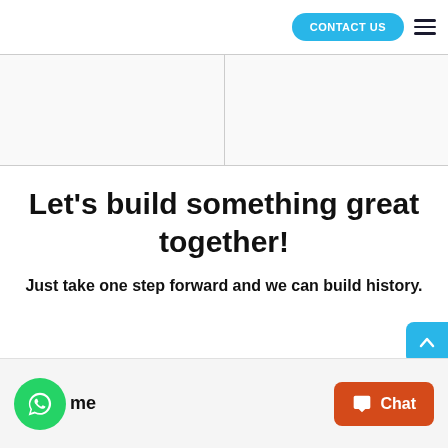CONTACT US
[Figure (photo): Two-column image placeholder area split by a vertical line]
Let's build something great together!
Just take one step forward and we can build history.
[Figure (other): Scroll to top button (blue arrow up)]
[Figure (other): WhatsApp green circle button]
me
[Figure (other): Chat button (orange/red)]